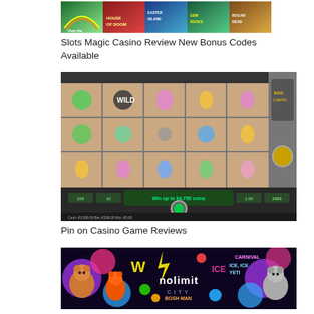[Figure (screenshot): Slots Magic Casino banner showing colorful slot game thumbnails including Over the Rainbow, House of Doom, Easter Island, Gem Rocks, and Bogan Bucks]
Slots Magic Casino Review New Bonus Codes Available
[Figure (screenshot): Screenshot of Eggmatic slot game showing a 5x3 grid with cartoon bird and egg symbols, a WILD symbol, and a 'Win up to 94,750 coins' message at the bottom with game controls]
Pin on Casino Game Reviews
[Figure (screenshot): Nolimit City casino game provider banner showing colorful slot game characters including bears, foxes, and other cartoon figures with the Nolimit City logo in the center]